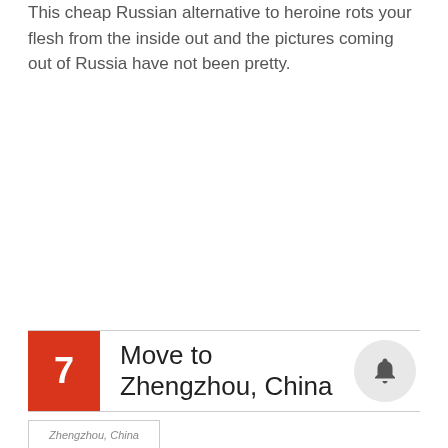This cheap Russian alternative to heroine rots your flesh from the inside out and the pictures coming out of Russia have not been pretty.
7  Move to Zhengzhou, China
[Figure (photo): Zhengzhou, China image placeholder]